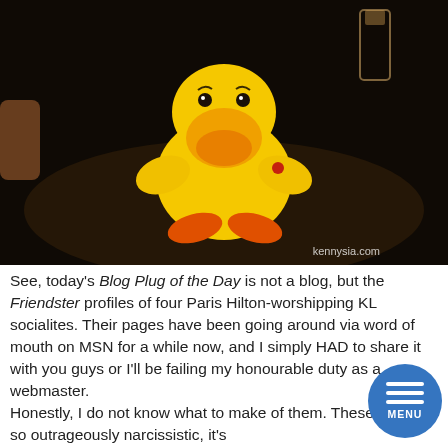[Figure (photo): A yellow stuffed duck toy sitting on a dark table surface. The duck has an orange beak, orange feet, and small black eyes. A glass is visible in the upper right corner. Watermark reads 'kennysia.com' in the lower right of the photo.]
See, today's Blog Plug of the Day is not a blog, but the Friendster profiles of four Paris Hilton-worshipping KL socialites. Their pages have been going around via word of mouth on MSN for a while now, and I simply HAD to share it with you guys or I'll be failing my honourable duty as a webmaster.
Honestly, I do not know what to make of them. These girls are so outrageously narcissistic, it's